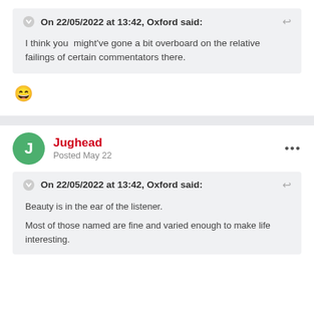On 22/05/2022 at 13:42, Oxford said:
I think you might've gone a bit overboard on the relative failings of certain commentators there.
😄
Jughead
Posted May 22
On 22/05/2022 at 13:42, Oxford said:
Beauty is in the ear of the listener.

Most of those named are fine and varied enough to make life interesting.